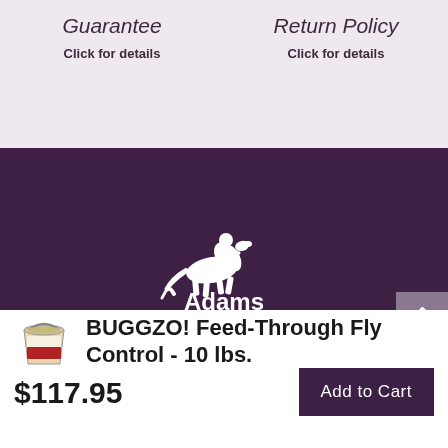Guarantee
Click for details
Return Policy
Click for details
[Figure (logo): Adams brand logo with horse and rider illustration and the word Adams in white text on dark purple background]
BUGGZO! Feed-Through Fly Control - 10 lbs.
$117.95
Add to Cart